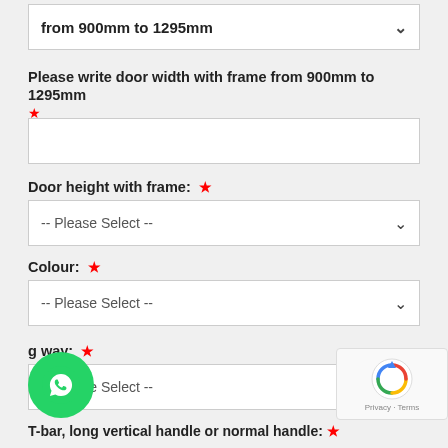from 900mm to 1295mm
Please write door width with frame from 900mm to 1295mm *
Door height with frame: *
-- Please Select --
Colour: *
-- Please Select --
g way: *
-- Please Select --
T-bar, long vertical handle or normal handle: *